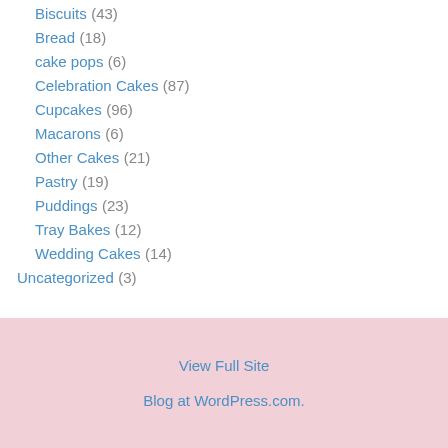Biscuits (43)
Bread (18)
cake pops (6)
Celebration Cakes (87)
Cupcakes (96)
Macarons (6)
Other Cakes (21)
Pastry (19)
Puddings (23)
Tray Bakes (12)
Wedding Cakes (14)
Uncategorized (3)
View Full Site
Blog at WordPress.com.